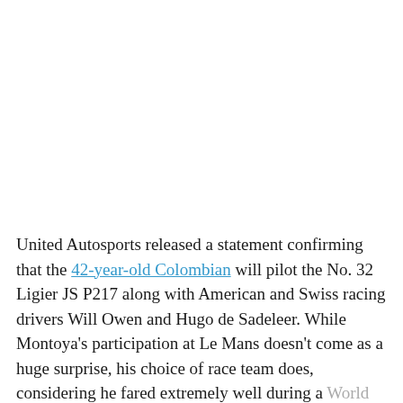United Autosports released a statement confirming that the 42-year-old Colombian will pilot the No. 32 Ligier JS P217 along with American and Swiss racing drivers Will Owen and Hugo de Sadeleer. While Montoya's participation at Le Mans doesn't come as a huge surprise, his choice of race team does, considering he fared extremely well during a World Endurance Championship test with Porsche in Bahrain back in 2015.